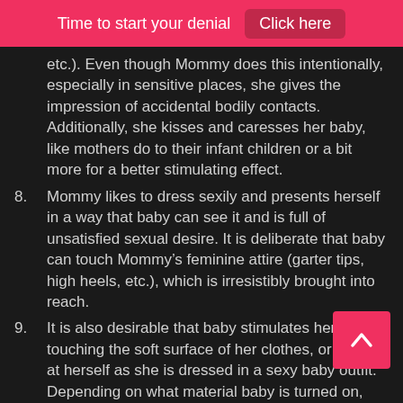Time to start your denial   Click here
etc.). Even though Mommy does this intentionally, especially in sensitive places, she gives the impression of accidental bodily contacts. Additionally, she kisses and caresses her baby, like mothers do to their infant children or a bit more for a better stimulating effect.
8. Mommy likes to dress sexily and presents herself in a way that baby can see it and is full of unsatisfied sexual desire. It is deliberate that baby can touch Mommy’s feminine attire (garter tips, high heels, etc.), which is irresistibly brought into reach.
9. It is also desirable that baby stimulates herself by touching the soft surface of her clothes, or looking at herself as she is dressed in a sexy baby outfit. Depending on what material baby is turned on, she has dressed accordingly.
10. Concerning the locked up genitals, Mommy comments